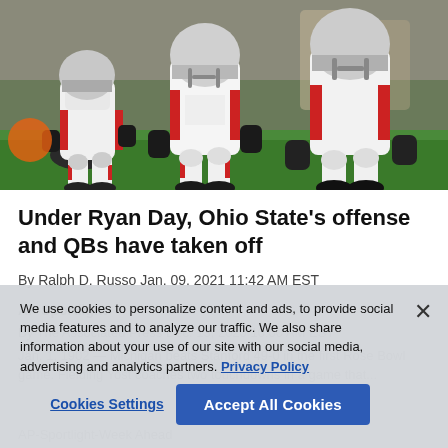[Figure (photo): Football players in white uniforms with red accents running on a field, viewed from below knees level]
Under Ryan Day, Ohio State's offense and QBs have taken off
By Ralph D. Russo Jan. 09, 2021 11:42 AM EST
AP Sportlight
We use cookies to personalize content and ads, to provide social media features and to analyze our traffic. We also share information about your use of our site with our social media, advertising and analytics partners. Privacy Policy
Cookies Settings
Accept All Cookies
AP-Sportlight-Week Ahead